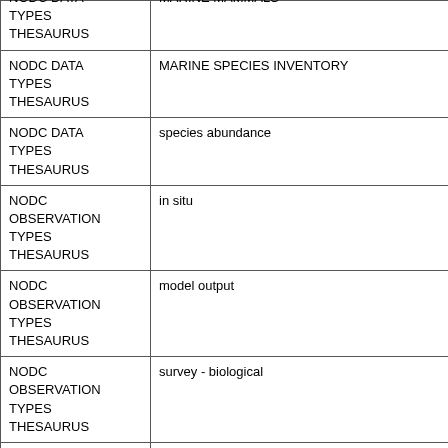| Thesaurus | Term |
| --- | --- |
| NODC DATA TYPES THESAURUS | MARINE MAMMALS |
| NODC DATA TYPES THESAURUS | MARINE SPECIES INVENTORY |
| NODC DATA TYPES THESAURUS | species abundance |
| NODC OBSERVATION TYPES THESAURUS | in situ |
| NODC OBSERVATION TYPES THESAURUS | model output |
| NODC OBSERVATION TYPES THESAURUS | survey - biological |
| NODC OBSERVATION TYPES THESAURUS | visual observation |